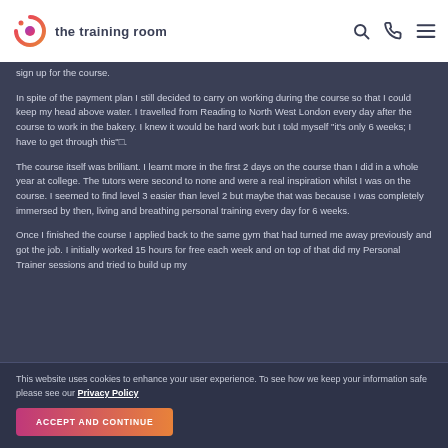the training room
sign up for the course.
In spite of the payment plan I still decided to carry on working during the course so that I could keep my head above water. I travelled from Reading to North West London every day after the course to work in the bakery. I knew it would be hard work but I told myself "it's only 6 weeks; I have to get through this"□.
The course itself was brilliant. I learnt more in the first 2 days on the course than I did in a whole year at college. The tutors were second to none and were a real inspiration whilst I was on the course. I seemed to find level 3 easier than level 2 but maybe that was because I was completely immersed by then, living and breathing personal training every day for 6 weeks.
Once I finished the course I applied back to the same gym that had turned me away previously and got the job. I initially worked 15 hours for free each week and on top of that did my Personal Trainer sessions and tried to build up my
This website uses cookies to enhance your user experience. To see how we keep your information safe please see our Privacy Policy